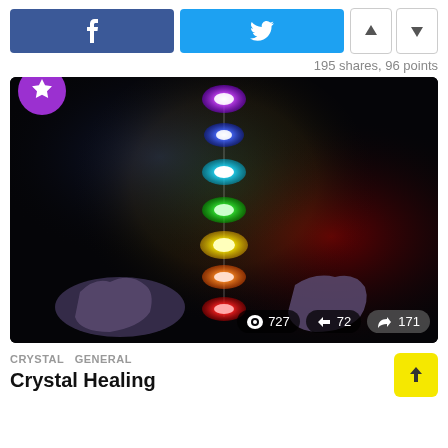[Figure (screenshot): Social sharing buttons: Facebook (blue), Twitter (light blue), and up/down vote arrows]
195 shares, 96 points
[Figure (photo): Chakra healing image showing seven glowing colored orbs (violet, blue, cyan, green, yellow, orange, red) arranged vertically above two open hands on a dark background, with a purple star badge in top-left corner. Stats overlay shows 727 views, 72 reposts, 171 shares.]
CRYSTAL   GENERAL
Crystal Healing